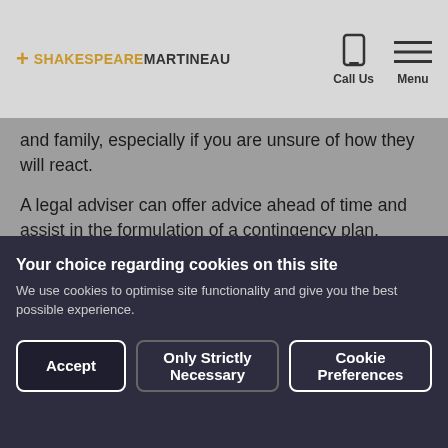Shakespeare Martineau — Call Us | Menu
and family, especially if you are unsure of how they will react.

A legal adviser can offer advice ahead of time and assist in the formulation of a contingency plan, allowing you to quickly safeguard your interests, should any family relationships come under strain as a result of the news.
Your choice regarding cookies on this site
We use cookies to optimise site functionality and give you the best possible experience.
Accept | Only Strictly Necessary | Cookie Preferences